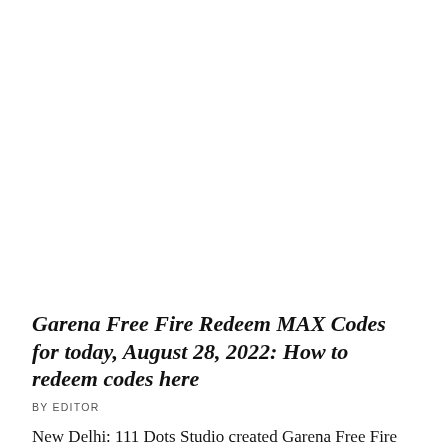Garena Free Fire Redeem MAX Codes for today, August 28, 2022: How to redeem codes here
BY EDITOR
New Delhi: 111 Dots Studio created Garena Free Fire Max. It is a multiplayer battle royale game that provides